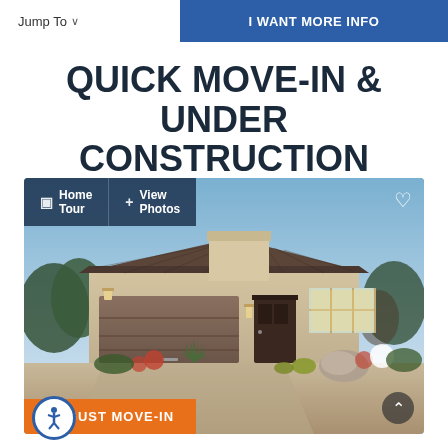Jump To  |  I WANT MORE INFO
QUICK MOVE-IN & UNDER CONSTRUCTION HOMES
[Figure (photo): Exterior rendering of a single-story desert home with tan/beige stucco, brown garage door, desert landscaping, blue sky background. Overlay buttons for Home Tour and View Photos visible at top. Heart icon top right. Orange badge reading 'AUGUST MOVE-IN' at bottom left.]